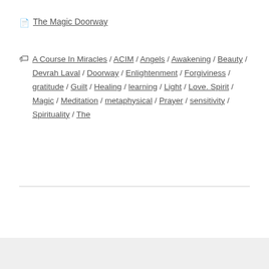The Magic Doorway
A Course In Miracles / ACIM / Angels / Awakening / Beauty / Devrah Laval / Doorway / Enlightenment / Forgiviness / gratitude / Guilt / Healing / learning / Light / Love. Spirit / Magic / Meditation / metaphysical / Prayer / sensitivity / Spirituality / The